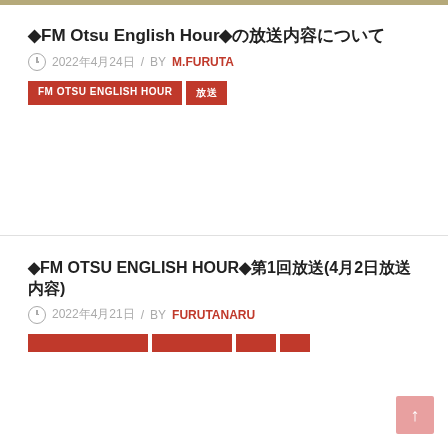◆FM Otsu English Hour◆の放送内容について
2022年4月24日 / BY M.FURUTA
FM OTSU ENGLISH HOUR
放送
◆FM OTSU ENGLISH HOUR◆第1回放送(4月2日放送内容)
2022年4月21日 / BY FURUTANARU